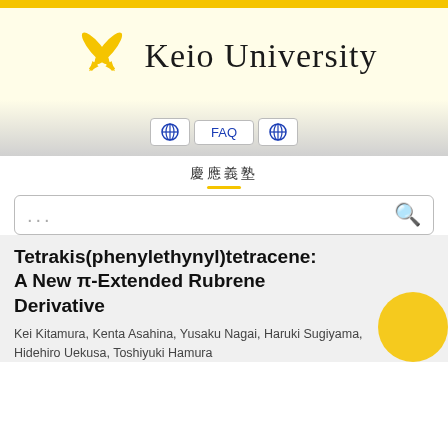[Figure (logo): Keio University logo with crossed quill pens in gold/yellow and the text 'Keio University' in serif font]
[Figure (screenshot): Navigation bar with two globe icons and FAQ button in blue text on white background]
慶應義塾
[Figure (other): Search bar with ellipsis placeholder and magnifying glass icon]
Tetrakis(phenylethynyl)tetracene: A New π-Extended Rubrene Derivative
Kei Kitamura, Kenta Asahina, Yusaku Nagai, Haruki Sugiyama, Hidehiro Uekusa, Toshiyuki Hamura